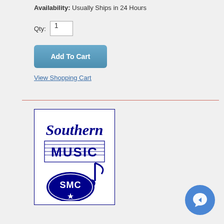Availability: Usually Ships in 24 Hours
Qty: 1
Add To Cart
View Shopping Cart
[Figure (logo): Southern Music Company (SMC) logo — blue cursive 'Southern' text above a blue boxed 'MUSIC' with horizontal lines, and below a blue oval with SMC text, a star, and a musical note.]